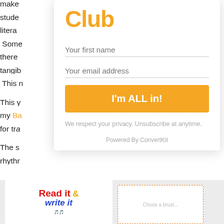make stude literacy Some there tangib This n This y my Ba for tra The s rhyth
Club
Your first name
Your email address
I'm ALL in!
We respect your privacy. Unsubscribe at anytime.
Powered By ConvertKit
[Figure (illustration): Read it & Write it logo/book cover image on left, and a worksheet preview on the right, shown in bottom strip]